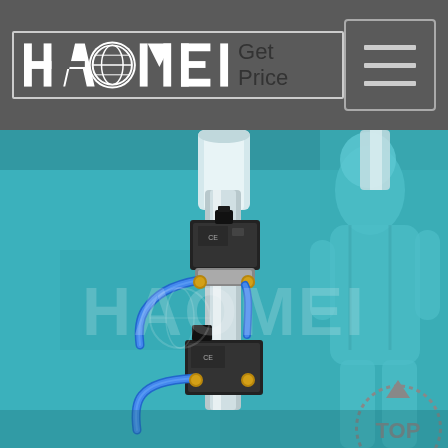HAOMEI Get Price [navigation header with hamburger menu]
[Figure (photo): Industrial machinery photo showing pneumatic cylinder assembly with solenoid valves and blue air hoses mounted on aluminum rod, set against a teal/turquoise industrial background with a worker in protective gear visible on the right. HAOMEI watermark and TOP navigation icon visible in lower right corner.]